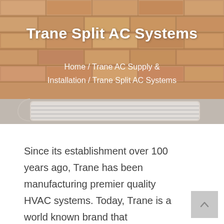[Figure (photo): Brick wall background with an air conditioning unit visible at the bottom edge]
Trane Split AC Systems
Home / Trane AC Supply & Installation / Trane Split AC Systems
Since its establishment over 100 years ago, Trane has been manufacturing premier quality HVAC systems. Today, Trane is a world known brand that specialises in designing and building durable